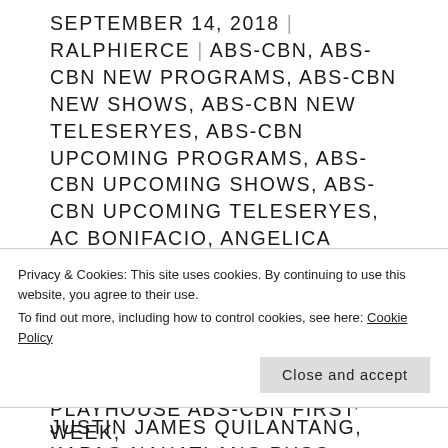SEPTEMBER 14, 2018 | RALPHIERCE | ABS-CBN, ABS-CBN NEW PROGRAMS, ABS-CBN NEW SHOWS, ABS-CBN NEW TELESERYES, ABS-CBN UPCOMING PROGRAMS, ABS-CBN UPCOMING SHOWS, ABS-CBN UPCOMING TELESERYES, AC BONIFACIO, ANGELICA PANGANIBAN, ARIELLA ARIDA, DEXTER DORIA, DONNY PANGILINAN, GMA, GMA NETWORK, INGRID DELA PAZ, IT'S SHOWTIME, IT'S SHOWTIME ABS-CBN, JOMARI ANGELES, JUSTIN JAMES QUILANTANG, KAPAG NAHATI ANG PUSO, KAPAG NAHATI ANG PUSO GMA, KEAN CIPRIANO, KISSES DELAVIN, MALOU DE GUZMAN,
Privacy & Cookies: This site uses cookies. By continuing to use this website, you agree to their use. To find out more, including how to control cookies, see here: Cookie Policy
Close and accept
PLAYHOUSE ABS-CBN FIRST WEEK,